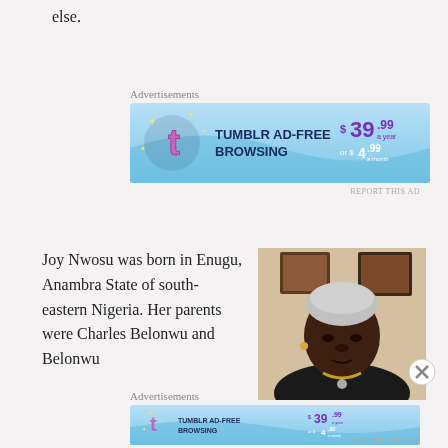else.
Advertisements
[Figure (screenshot): Tumblr Ad-Free Browsing advertisement banner: $39.99 a year or $4.99 a month]
Joy Nwosu was born in Enugu, Anambra State of south-eastern Nigeria. Her parents were Charles Belonwu and Belonwu
[Figure (photo): Portrait photo of an elderly Black woman with short grey hair, wearing a black sleeveless top and necklace, with framed photos on the wall behind her]
Advertisements
[Figure (screenshot): Tumblr Ad-Free Browsing advertisement banner: $39.99 a year or $4.99 a month]